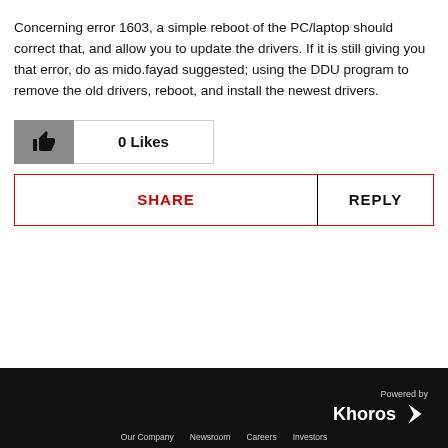Concerning error 1603, a simple reboot of the PC/laptop should correct that, and allow you to update the drivers. If it is still giving you that error, do as mido.fayad suggested; using the DDU program to remove the old drivers, reboot, and install the newest drivers.
0 Likes
SHARE
REPLY
Powered by Khoros  Our Company  Newsroom  Careers  Investors